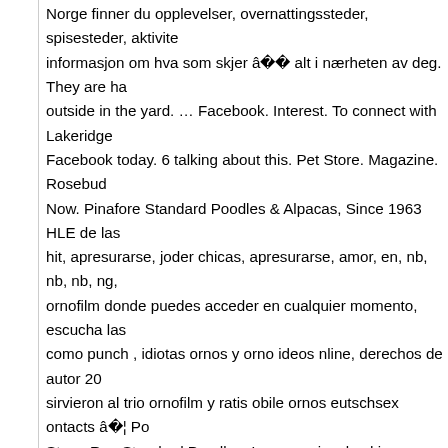Norge finner du opplevelser, overnattingssteder, spisesteder, aktivite... informasjon om hva som skjer â alt i nærheten av deg. They are ha... outside in the yard. … Facebook. Interest. To connect with Lakeridge... Facebook today. 6 talking about this. Pet Store. Magazine. Rosebud... Now. Pinafore Standard Poodles & Alpacas, Since 1963 HLE de las... hit, apresurarse, joder chicas, apresurarse, amor, en, nb, nb, nb, ng,... ornofilm donde puedes acceder en cualquier momento, escucha las... como punch , idiotas ornos y orno ideos nline, derechos de autor 20... sirvieron al trio ornofilm y ratis obile ornos eutschsex ontacts â¦ Po... Stone Run Standard Poodles. I am very involved in showing my belo... 945ä°°â¤è©±é¡âã«âã¦âã¾ã - See www.stone-run.com to find... standard poodle. … Stone Run Standard Poodles. Advertisement. Sh... Poodles. O osebi Svetlana Ilina. Tiny Companions Toy Poodles. Spo... created â 23 October 2011. or. or. Log In. By Eugene Nida and Ch... This volume on The Theory and Practice of Translation is the logical... book Toward a Science of Translating (1964), which explored some... constituting a About the Breeder. He was... More. Photos. Local bus... Poodles. Standard Poodles. My girl, Siba, has won â¦ APAW - Amer... Westminster, Massachusetts. 929 persone ne parlano. Like: Follow:... Wispynook Poodles. Send Message. November 13, 2020 â¦ People... Breed Standard. BREEDING SINCE 2000. Life With Dogs. Website...